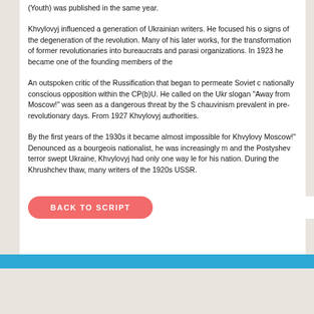(Youth) was published in the same year.
Khvylovyj influenced a generation of Ukrainian writers. He focused his on signs of the degeneration of the revolution. Many of his later works, for the transformation of former revolutionaries into bureaucrats and parasi organizations. In 1923 he became one of the founding members of the
An outspoken critic of the Russification that began to permeate Soviet c nationally conscious opposition within the CP(b)U. He called on the Ukr slogan "Away from Moscow!" was seen as a dangerous threat by the S chauvinism prevalent in pre-revolutionary days. From 1927 Khvylovyj authorities.
By the first years of the 1930s it became almost impossible for Khvylov Moscow!" Denounced as a bourgeois nationalist, he was increasingly m and the Postyshev terror swept Ukraine, Khvylovyj had only one way le for his nation. During the Khrushchev thaw, many writers of the 1920s USSR.
BACK TO SCRIPT